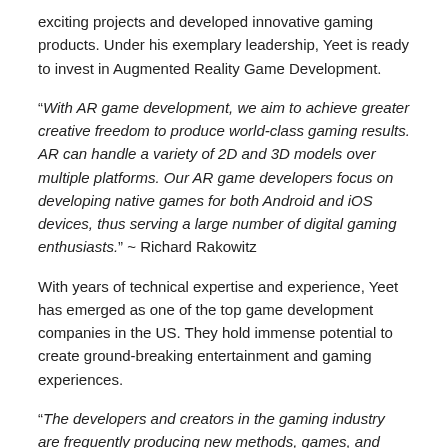exciting projects and developed innovative gaming products. Under his exemplary leadership, Yeet is ready to invest in Augmented Reality Game Development.
“With AR game development, we aim to achieve greater creative freedom to produce world-class gaming results. AR can handle a variety of 2D and 3D models over multiple platforms. Our AR game developers focus on developing native games for both Android and iOS devices, thus serving a large number of digital gaming enthusiasts.” ~ Richard Rakowitz
With years of technical expertise and experience, Yeet has emerged as one of the top game development companies in the US. They hold immense potential to create ground-breaking entertainment and gaming experiences.
“The developers and creators in the gaming industry are frequently producing new methods, games, and emerging technologies to attract gamers’ interest. There is an ever-evolving gaming ecosystem which demands investing in augmented reality in mobile game